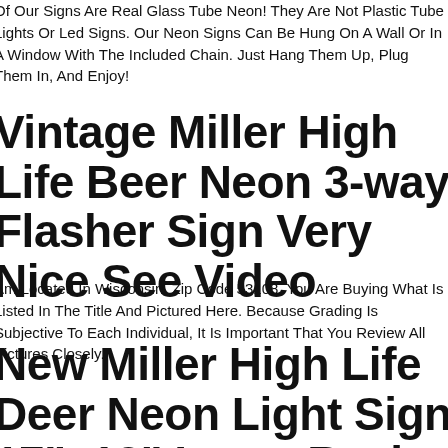Of Our Signs Are Real Glass Tube Neon! They Are Not Plastic Tube Lights Or Led Signs. Our Neon Signs Can Be Hung On A Wall Or In A Window With The Included Chain. Just Hang Them Up, Plug Them In, And Enjoy!
Vintage Miller High Life Beer Neon 3-way Flasher Sign Very Nice See Video
Am Located In Wisconsin, Zip Code 53108. You Are Buying What Is Listed In The Title And Pictured Here. Because Grading Is Subjective To Each Individual, It Is Important That You Review All Pictures Closely.
New Miller High Life Deer Neon Light Sign 17"x13" Lamp Real Glass Bar Beer Decor